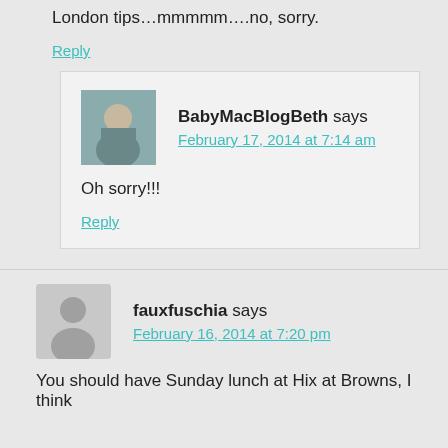London tips…mmmmm….no, sorry.
Reply
BabyMacBlogBeth says
February 17, 2014 at 7:14 am
Oh sorry!!!
Reply
fauxfuschia says
February 16, 2014 at 7:20 pm
You should have Sunday lunch at Hix at Browns, I think